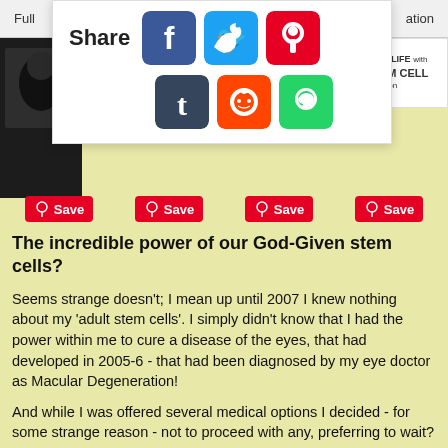Full ... ation
[Figure (screenshot): Share overlay with social media icons: Facebook, Twitter, Pinterest, Tumblr, Reddit, WhatsApp]
[Figure (photo): Dark photo thumbnail on left side]
[Figure (infographic): Ad: Improve your LIFE with Adult STEM CELL nutrition]
Save (Pinterest button) x4
The incredible power of our God-Given stem cells?
Seems strange doesn't; I mean up until 2007 I knew nothing about my 'adult stem cells'. I simply didn't know that I had the power within me to cure a disease of the eyes, that had developed in 2005-6 - that had been diagnosed by my eye doctor as Macular Degeneration!
And while I was offered several medical options I decided - for some strange reason - not to proceed with any, preferring to wait?
Toward the end of 2006 I received an email titled